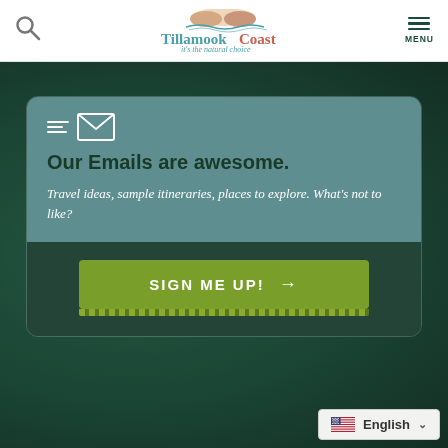Tillamook Coast - it's the natural choice
[Figure (logo): Tillamook Coast logo with illustrated mountains/coast and tagline 'it's the natural choice']
Our Emails are awesome.
Travel ideas, sample itineraries, places to explore. What's not to like?
SIGN ME UP! →
English